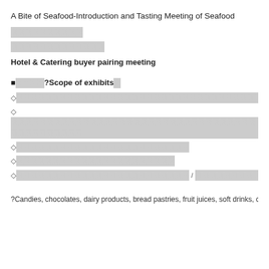A Bite of Seafood-Introduction and Tasting Meeting of Seafood
[CJK characters]
[CJK characters]
Hotel & Catering buyer pairing meeting
■[CJK]?Scope of exhibits[CJK]
◇[CJK characters - long line]
◇[CJK characters]
◇[CJK characters]
◇[CJK characters]
◇[CJK characters] / [CJK characters] / [CJK] / [CJK]
?Candies, chocolates, dairy products, bread pastries, fruit juices, soft drinks, c